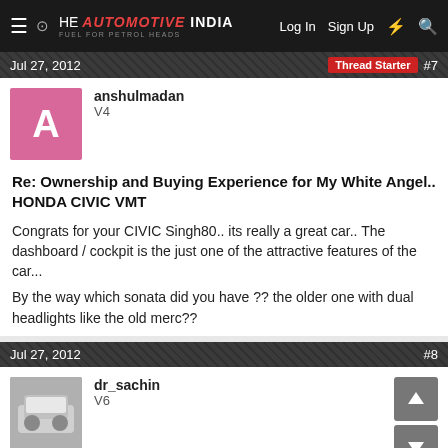THE AUTOMOTIVE INDIA — Log In  Sign Up  ⚡  🔍
Jul 27, 2012   Thread Starter  #7
anshulmadan
V4
Re: Ownership and Buying Experience for My White Angel.. HONDA CIVIC VMT
Congrats for your CIVIC Singh80.. its really a great car.. The dashboard / cockpit is the just one of the attractive features of the car...
By the way which sonata did you have ?? the older one with dual headlights like the old merc??
Jul 27, 2012   #8
dr_sachin
V6
Re: Ownership and Buying Experience for My White Angel.. HONDA CIVIC VMT